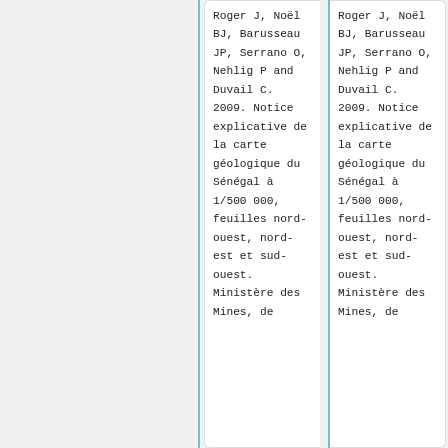Roger J, Noël BJ, Barusseau JP, Serrano O, Nehlig P and Duvail C. 2009. Notice explicative de la carte géologique du Sénégal à 1/500 000, feuilles nord-ouest, nord-est et sud-ouest. Ministère des Mines, de
Roger J, Noël BJ, Barusseau JP, Serrano O, Nehlig P and Duvail C. 2009. Notice explicative de la carte géologique du Sénégal à 1/500 000, feuilles nord-ouest, nord-est et sud-ouest. Ministère des Mines, de